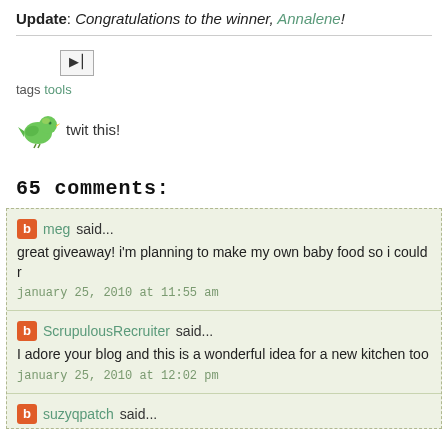Update: Congratulations to the winner, Annalene!
[Figure (illustration): Email/forward icon button]
tags tools
[Figure (illustration): Blue-green Twitter bird icon with 'twit this!' text]
65 comments:
meg said...
great giveaway! i'm planning to make my own baby food so i could r
january 25, 2010 at 11:55 am
ScrupulousRecruiter said...
I adore your blog and this is a wonderful idea for a new kitchen too
january 25, 2010 at 12:02 pm
suzyqpatch said...